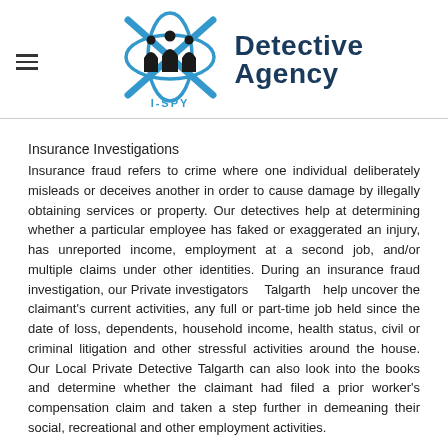[Figure (logo): I-SPY Detective Agency logo with stylized X shape in blue and silhouettes of three people, alongside bold dark blue text 'Detective Agency']
Insurance Investigations
Insurance fraud refers to crime where one individual deliberately misleads or deceives another in order to cause damage by illegally obtaining services or property. Our detectives help at determining whether a particular employee has faked or exaggerated an injury, has unreported income, employment at a second job, and/or multiple claims under other identities. During an insurance fraud investigation, our Private investigators    Talgarth  help uncover the claimant's current activities, any full or part-time job held since the date of loss, dependents, household income, health status, civil or criminal litigation and other stressful activities around the house. Our Local Private Detective Talgarth can also look into the books and determine whether the claimant had filed a prior worker's compensation claim and taken a step further in demeaning their social, recreational and other employment activities.